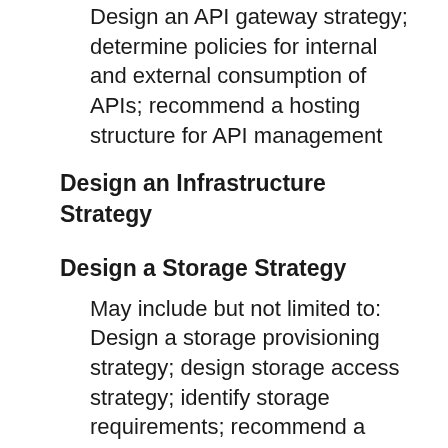Design an API gateway strategy; determine policies for internal and external consumption of APIs; recommend a hosting structure for API management
Design an Infrastructure Strategy
Design a Storage Strategy
May include but not limited to: Design a storage provisioning strategy; design storage access strategy; identify storage requirements; recommend a storage solution and storage management tools
Design a Compute Strategy
May include but not limited to: